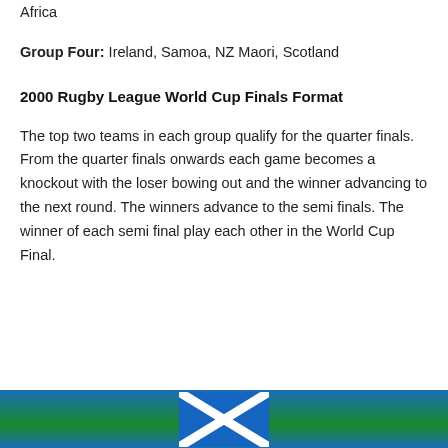Africa
Group Four: Ireland, Samoa, NZ Maori, Scotland
2000 Rugby League World Cup Finals Format
The top two teams in each group qualify for the quarter finals. From the quarter finals onwards each game becomes a knockout with the loser bowing out and the winner advancing to the next round. The winners advance to the semi finals. The winner of each semi final play each other in the World Cup Final.
[Figure (photo): Partial photo at bottom of page showing what appears to be a Scottish flag (Saltire) against a blue/green background]